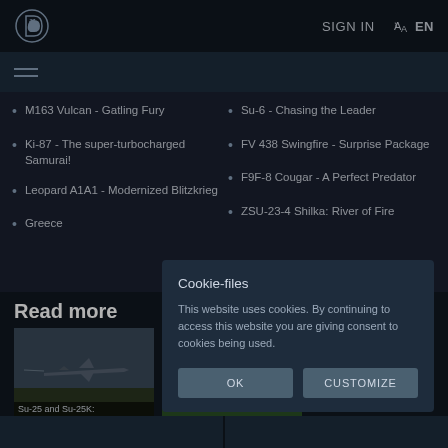SIGN IN  EN
M163 Vulcan - Gatling Fury
Ki-87 - The super-turbocharged Samurai!
Leopard A1A1 - Modernized Blitzkrieg
Greece
Su-6 - Chasing the Leader
FV 438 Swingfire - Surprise Package
F9F-8 Cougar - A Perfect Predator
ZSU-23-4 Shilka: River of Fire
Read more
[Figure (screenshot): Thumbnail image of Su-25 and Su-25K aircraft]
Su-25 and Su-25K:
Cookie-files

This website uses cookies. By continuing to access this website you are giving consent to cookies being used.

OK    CUSTOMIZE